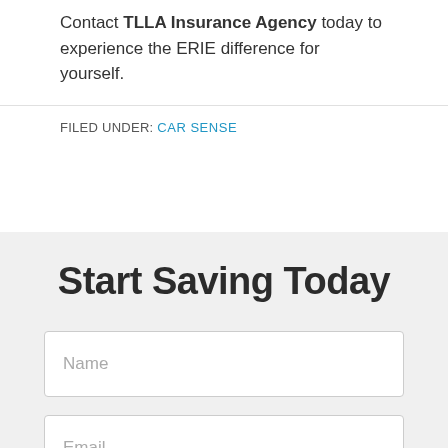Contact TLLA Insurance Agency today to experience the ERIE difference for yourself.
FILED UNDER: CAR SENSE
Start Saving Today
Name
Email